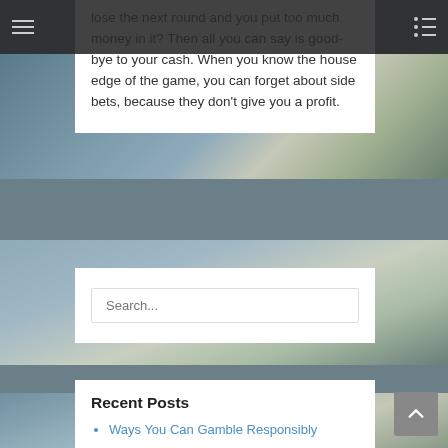≡  [menu icon]  [list icon]
lose the next round and you put too much money in it? Then all you can say is good-bye to your cash. When you know the house edge of the game, you can forget about side bets, because they don't give you a profit.
Search...
Recent Posts
Ways You Can Gamble Responsibly